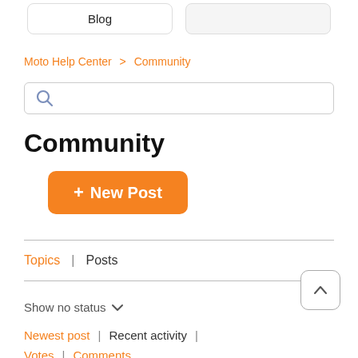[Figure (screenshot): Top navigation bar with Blog button and another button partially visible]
Moto Help Center > Community
[Figure (other): Search input box with magnifying glass icon]
Community
[Figure (other): Orange rounded button with + New Post label]
Topics  |  Posts
Show no status ▾
Newest post  |  Recent activity  |
Votes  |  Comments